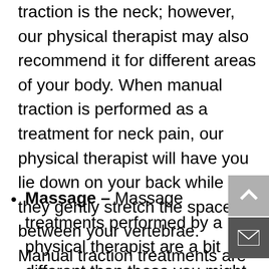traction is the neck; however, our physical therapist may also recommend it for different areas of your body. When manual traction is performed as a treatment for neck pain, our physical therapist will have you lie down on your back while they gently stretch the spaces between your vertebrae. Manual traction treatments are generally done for 5-10 seconds at a time.
Massage – Massage treatments performed by a physical therapist are a bit different than those you might receive at a spa. They are meant to be